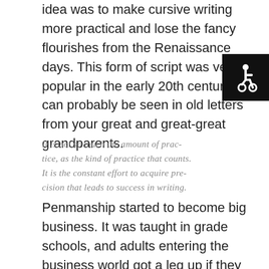idea was to make cursive writing more practical and lose the fancy flourishes from the Renaissance days. This form of script was very popular in the early 20th century and can probably be seen in old letters from your great and great-great grandparents.
[Figure (illustration): Accessibility wheelchair icon — white wheelchair symbol on black square background, top-right corner]
[Figure (illustration): Cursive handwriting sample reading: 'It is not so much the amount of practice, as the kind of practice that counts. It is the constant effort to acquire precision that leads to success in writing.']
Penmanship started to become big business. It was taught in grade schools, and adults entering the business world got a leg up if they completed a course in a penmanship school.